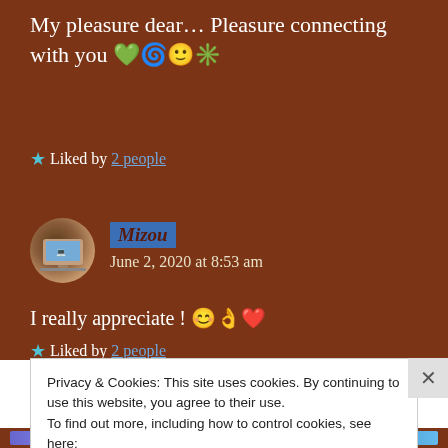My pleasure dear… Pleasure connecting with you 💚🌀🙂✳️
★ Liked by 2 people
Mizou — June 2, 2020 at 8:53 am
I really appreciate ! 😊👌❤️
★ Liked by 2 people
Privacy & Cookies: This site uses cookies. By continuing to use this website, you agree to their use.
To find out more, including how to control cookies, see here: Cookie Policy
Close and accept